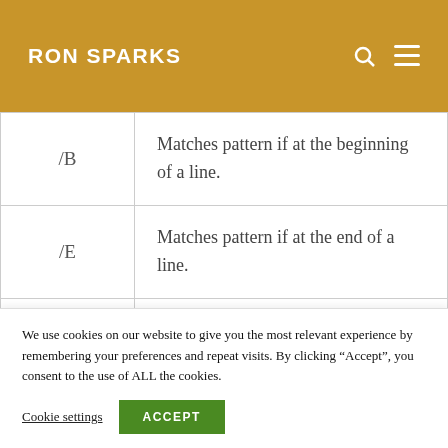RON SPARKS
| Flag | Description |
| --- | --- |
| /B | Matches pattern if at the beginning of a line. |
| /E | Matches pattern if at the end of a line. |
| /L | Uses search strings literally |
We use cookies on our website to give you the most relevant experience by remembering your preferences and repeat visits. By clicking “Accept”, you consent to the use of ALL the cookies.
Cookie settings  ACCEPT